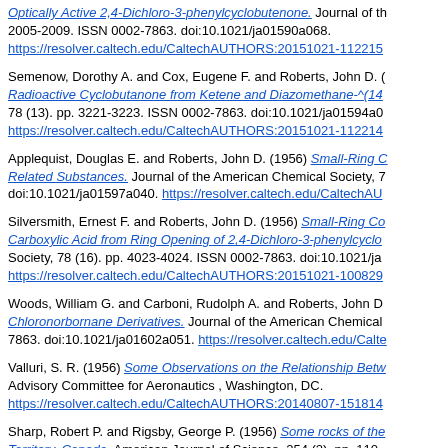Optically Active 2,4-Dichloro-3-phenylcyclobutenone. Journal of the American Chemical Society, 78. pp. 2005-2009. ISSN 0002-7863. doi:10.1021/ja01590a068. https://resolver.caltech.edu/CaltechAUTHORS:20151021-112215...
Semenow, Dorothy A. and Cox, Eugene F. and Roberts, John D. (...) Radioactive Cyclobutanone from Ketene and Diazomethane-^(14... 78 (13). pp. 3221-3223. ISSN 0002-7863. doi:10.1021/ja01594a0... https://resolver.caltech.edu/CaltechAUTHORS:20151021-112214...
Applequist, Douglas E. and Roberts, John D. (1956) Small-Ring C... Related Substances. Journal of the American Chemical Society, 7... doi:10.1021/ja01597a040. https://resolver.caltech.edu/CaltechAU...
Silversmith, Ernest F. and Roberts, John D. (1956) Small-Ring Co... Carboxylic Acid from Ring Opening of 2,4-Dichloro-3-phenylcyclo... Society, 78 (16). pp. 4023-4024. ISSN 0002-7863. doi:10.1021/ja0... https://resolver.caltech.edu/CaltechAUTHORS:20151021-100829...
Woods, William G. and Carboni, Rudolph A. and Roberts, John D... Chloronorbornane Derivatives. Journal of the American Chemical... 7863. doi:10.1021/ja01602a051. https://resolver.caltech.edu/Calte...
Valluri, S. R. (1956) Some Observations on the Relationship Betw... Advisory Committee for Aeronautics, Washington, DC. https://resolver.caltech.edu/CaltechAUTHORS:20140807-151814...
Sharp, Robert P. and Rigsby, George P. (1956) Some rocks of the... Territory, Canada. American Journal of Science, 254 (2). pp. 110-... doi:10.2475/ajs.254.2.110. https://resolver.caltech.edu/CaltechA...